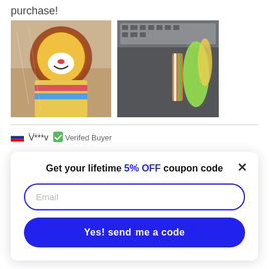purchase!
[Figure (photo): Two product photos: left shows a lion stuffed animal toy in plastic packaging on a wood-tone surface; right shows an assortment of colorful stuffed toys and plush items near a laptop keyboard.]
V***v   Verifed Buyer
Get your lifetime 5% OFF coupon code
Email
Yes! send me a code